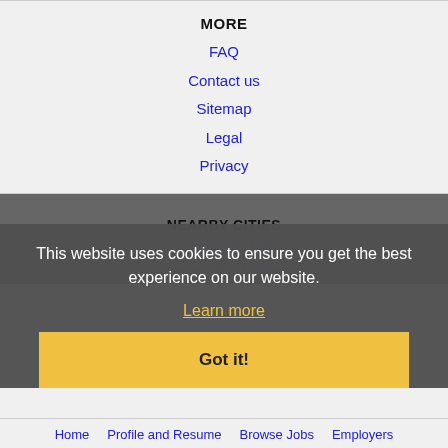MORE
FAQ
Contact us
Sitemap
Legal
Privacy
NEARBY CITIES
Omaha, NE Jobs
Sioux City, IA Jobs
This website uses cookies to ensure you get the best experience on our website.
Learn more
Got it!
Home   Profile and Resume   Browse Jobs   Employers